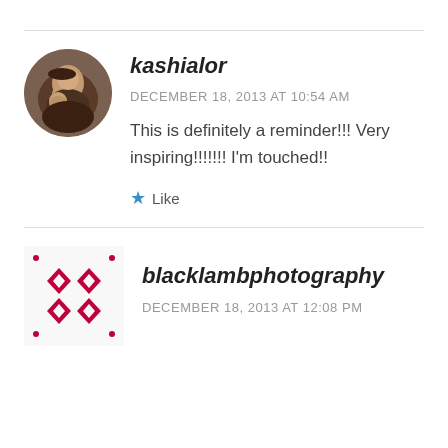[Figure (photo): Circular avatar photo of kashialor, showing a woman with a child]
kashialor
DECEMBER 18, 2013 AT 10:54 AM
This is definitely a reminder!!! Very inspiring!!!!!!! I'm touched!!
Like
[Figure (logo): Black lamb photography logo with red diamond pattern on white background]
blacklambphotography
DECEMBER 18, 2013 AT 12:08 PM